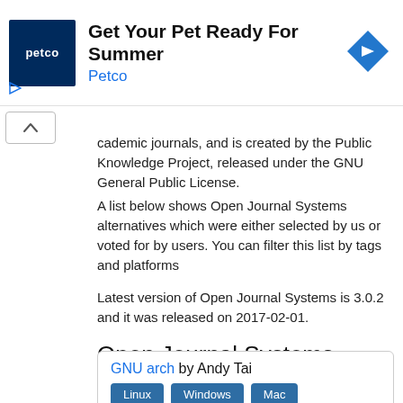[Figure (other): Petco advertisement banner with logo, text 'Get Your Pet Ready For Summer', 'Petco' link, and a blue diamond navigation arrow icon]
academic journals, and is created by the Public Knowledge Project, released under the GNU General Public License.
A list below shows Open Journal Systems alternatives which were either selected by us or voted for by users. You can filter this list by tags and platforms
Latest version of Open Journal Systems is 3.0.2 and it was released on 2017-02-01.
Open Journal Systems Alternatives
GNU arch by Andy Tai
Linux  Windows  Mac